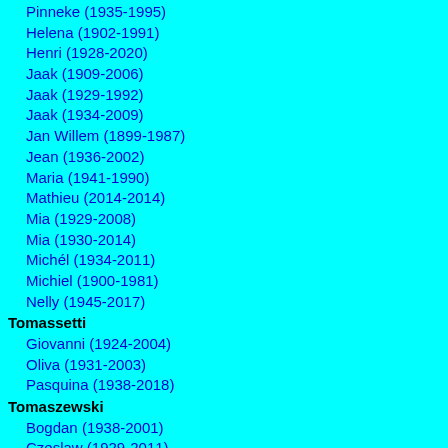Pinneke (1935-1995)
Helena (1902-1991)
Henri (1928-2020)
Jaak (1909-2006)
Jaak (1929-1992)
Jaak (1934-2009)
Jan Willem (1899-1987)
Jean (1936-2002)
Maria (1941-1990)
Mathieu (2014-2014)
Mia (1929-2008)
Mia (1930-2014)
Michél (1934-2011)
Michiel (1900-1981)
Nelly (1945-2017)
Tomassetti
Giovanni (1924-2004)
Oliva (1931-2003)
Pasquina (1938-2018)
Tomaszewski
Bogdan (1938-2001)
Czeslaw (1929-2011)
Etienne (1933-2010)
Frans (1902-1985)
Halina (1937-2004)
Henryk (1927-2004)
Tomazin
Bob (1926-2006)